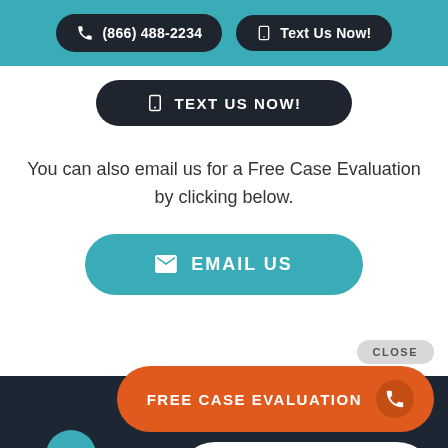[Figure (screenshot): Top bar with teal background containing two dark pill-shaped buttons: phone icon with '(866) 488-2234' and phone icon with 'Text Us Now!']
[Figure (screenshot): Dark pill-shaped button with mobile phone icon reading 'TEXT US NOW!' in uppercase]
You can also email us for a Free Case Evaluation by clicking below.
[Figure (screenshot): Teal pill-shaped button with envelope icon reading 'EMAIL US' in uppercase]
CLOSE
[Figure (screenshot): Dark bottom bar with orange 'FREE CASE EVALUATION' button with phone icon, white 'CONTACT' button with orange chat icon, and teal scroll-up circle button]
FREE CASE EVALUATION
CONTACT